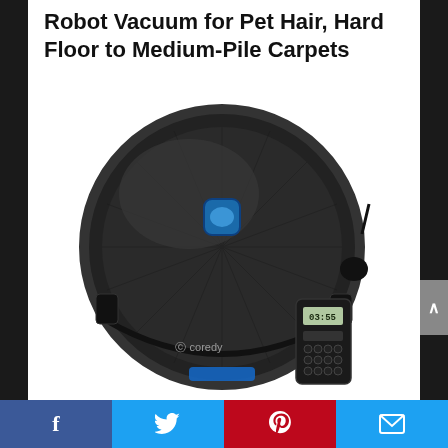Robot Vacuum for Pet Hair, Hard Floor to Medium-Pile Carpets
[Figure (photo): A black circular robot vacuum (Coredy brand) with a blue power button on top and a remote control with an LCD display showing '03:55' positioned to its lower right.]
[Figure (infographic): Social share bar with four buttons: Facebook (blue), Twitter (light blue), Pinterest (red), Email (light blue)]